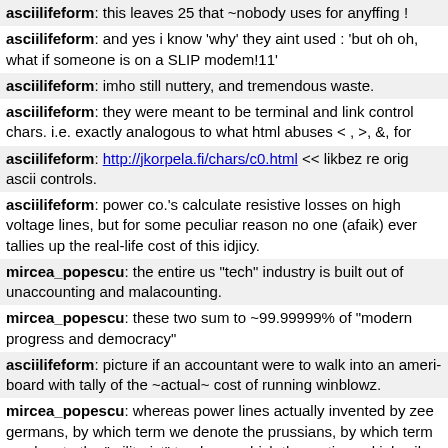asciilifeform: this leaves 25 that ~nobody uses for anyffing !
asciilifeform: and yes i know 'why' they aint used : 'but oh oh, what if someone is on a SLIP modem!11'
asciilifeform: imho still nuttery, and tremendous waste.
asciilifeform: they were meant to be terminal and link control chars. i.e. exactly analogous to what html abuses < , >, &, for
asciilifeform: http://jkorpela.fi/chars/c0.html << likbez re orig ascii controls.
asciilifeform: power co.'s calculate resistive losses on high voltage lines, but for some peculiar reason no one (afaik) ever tallies up the real-life cost of this idjicy.
mircea_popescu: the entire us "tech" industry is built out of unaccounting and malacounting.
mircea_popescu: these two sum to ~99.99999% of "modern progress and democracy"
asciilifeform: picture if an accountant were to walk into an ameri-board with tally of the ~actual~ cost of running winblowz.
mircea_popescu: whereas power lines actually invented by zee germans, by which term we denote the prussians, by which term we denote the "militarist" tendency which the mutinous kiel sailor and "broad elements" of the weimar republic "agreed with the consensus" should "have no place in germany".
mircea_popescu: this is what "militarism" fucking is, entire : keep your books straight OR ELSE!
asciilifeform: lol i thought it was 'keep boots shined or else'